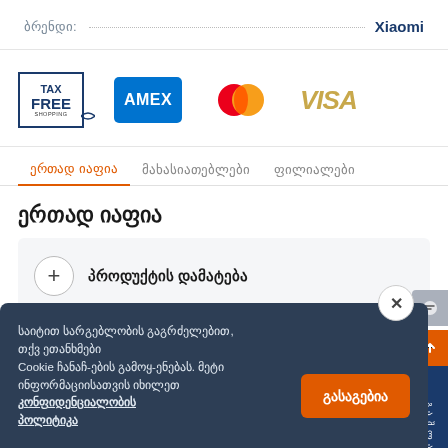ბრენდი: Xiaomi
[Figure (logo): Payment logos: Tax Free Shopping, AMEX, Mastercard, VISA]
ერთად იაფია   მახასიათებლები   ფილიალები
ერთად იაფია
+ პროდუქტის დამატება
საიტით სარგებლობის გაგრძელებით, თქვ ეთანხმები Cookie ჩანა-ჩ-ების გამოყ-ენებას. მეტი ინფორმაციისათვის იხილეთ კონფიდენციალობის პოლიტიკა